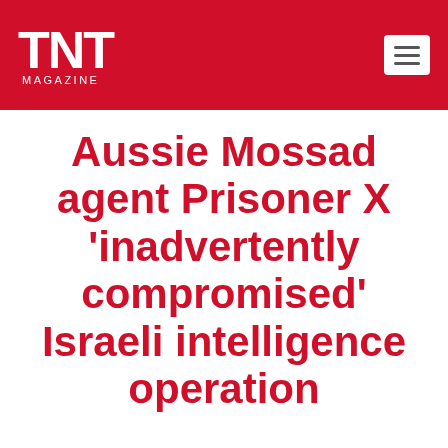TNT MAGAZINE
Aussie Mossad agent Prisoner X 'inadvertently compromised' Israeli intelligence operation